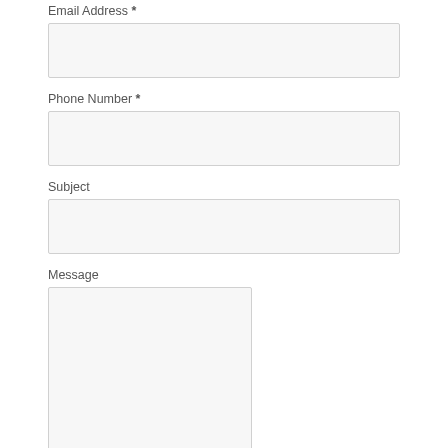Email Address *
Phone Number *
Subject
Message